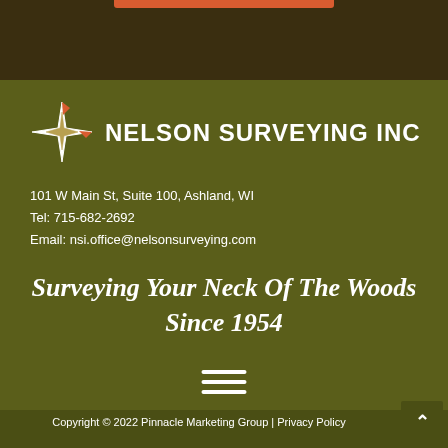[Figure (photo): Dark outdoor/nature background photo at the top of the page with an orange/red horizontal bar centered at the top]
[Figure (logo): Nelson Surveying Inc compass star logo with company name in white bold text]
101 W Main St, Suite 100, Ashland, WI
Tel: 715-682-2692
Email: nsi.office@nelsonsurveying.com
Surveying Your Neck Of The Woods Since 1954
[Figure (other): Hamburger menu icon - three horizontal white bars]
Copyright © 2022 Pinnacle Marketing Group | Privacy Policy